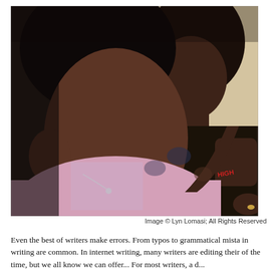[Figure (photo): Two young Black girls, one younger in a pink sleeveless top with a necklace in the foreground looking down, one older behind her in a dark floral top also looking down, appearing to be reading or looking at something together. Warm indoor lighting.]
Image © Lyn Lomasi; All Rights Reserved
Even the best of writers make errors. From typos to grammatical mista in writing are common. In internet writing, many writers are editing their of the time, but we all know we can offer... For most writers, a d...